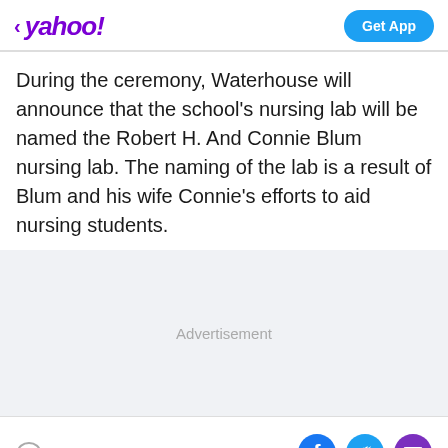< yahoo! | Get App
During the ceremony, Waterhouse will announce that the school's nursing lab will be named the Robert H. And Connie Blum nursing lab. The naming of the lab is a result of Blum and his wife Connie's efforts to aid nursing students.
Advertisement
View comments